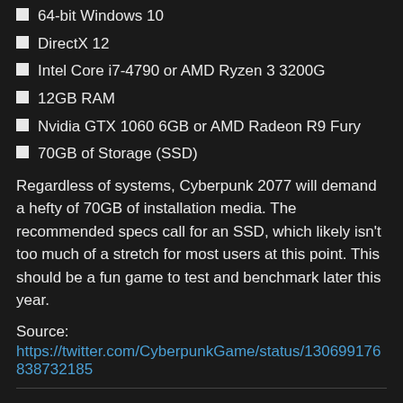64-bit Windows 10
DirectX 12
Intel Core i7-4790 or AMD Ryzen 3 3200G
12GB RAM
Nvidia GTX 1060 6GB or AMD Radeon R9 Fury
70GB of Storage (SSD)
Regardless of systems, Cyberpunk 2077 will demand a hefty of 70GB of installation media. The recommended specs call for an SSD, which likely isn't too much of a stretch for most users at this point. This should be a fun game to test and benchmark later this year.
Source:
https://twitter.com/CyberpunkGame/status/130699176838732185
22:54 | Corsair's IPO Worth $1.65B
We recently reported on Corsair looking to go public with an IPO, and now we have an idea of what that IPO is worth. According to multiple reports, Corsair, which will trade under CRSR, will initially offer $252M worth of shares and is valued at $1.65B.